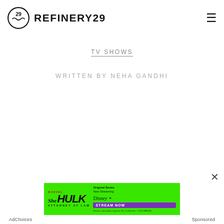REFINERY29
TV SHOWS
WRITTEN BY NEHA GANDHI
[Figure (screenshot): She-Hulk Attorney at Law advertisement banner on green background with Disney+ Stream Now button]
AdChoices   Sponsored